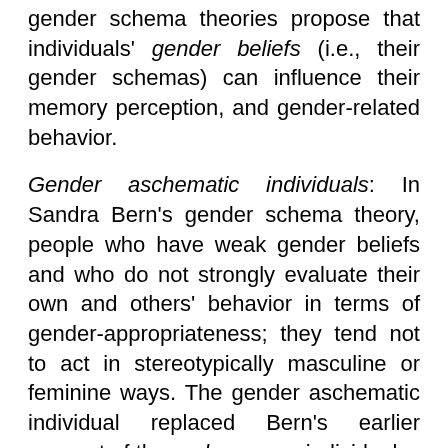gender schema theories propose that individuals' gender beliefs (i.e., their gender schemas) can influence their memory perception, and gender-related behavior.
Gender aschematic individuals: In Sandra Bern's gender schema theory, people who have weak gender beliefs and who do not strongly evaluate their own and others' behavior in terms of gender-appropriateness; they tend not to act in stereotypically masculine or feminine ways. The gender aschematic individual replaced Bern's earlier concept of the androgynous individual.
Gender gap in politics: The common research finding that women and men, on